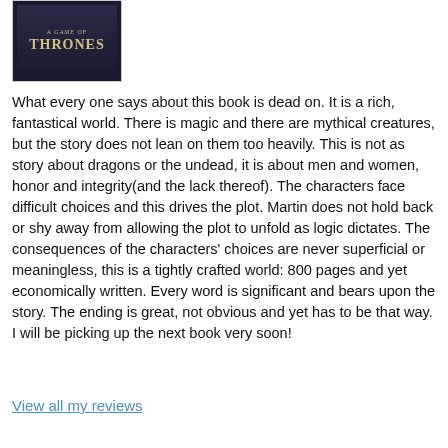[Figure (illustration): Book cover of A Game of Thrones - dark background with stylized title text in gold]
What every one says about this book is dead on. It is a rich, fantastical world. There is magic and there are mythical creatures, but the story does not lean on them too heavily. This is not as story about dragons or the undead, it is about men and women, honor and integrity(and the lack thereof). The characters face difficult choices and this drives the plot. Martin does not hold back or shy away from allowing the plot to unfold as logic dictates. The consequences of the characters' choices are never superficial or meaningless, this is a tightly crafted world: 800 pages and yet economically written. Every word is significant and bears upon the story. The ending is great, not obvious and yet has to be that way. I will be picking up the next book very soon!
View all my reviews